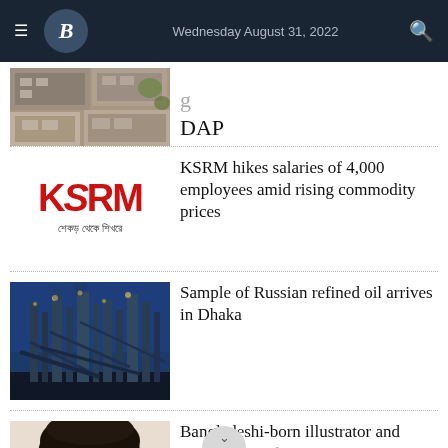Wednesday August 31, 2022
[Figure (photo): Aerial view of buildings/rooftops (partially visible, cropped at top)]
DAP
[Figure (logo): KSRM logo in red with Bengali text 'শেকড় থেকে শিখরে']
KSRM hikes salaries of 4,000 employees amid rising commodity prices
[Figure (photo): Industrial oil refinery at night with blue sky background]
Sample of Russian refined oil arrives in Dhaka
[Figure (photo): Portrait photo of a person with curly dark hair, partially visible]
Bangladeshi-born illustrator and storyteller mida Azim wins